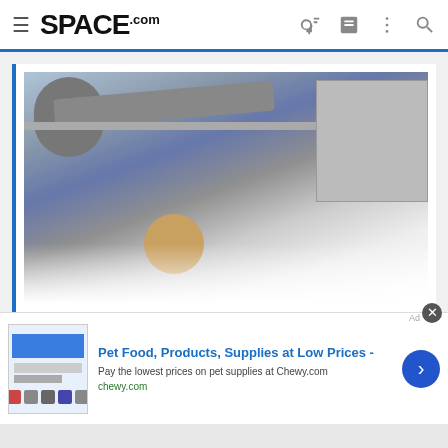SPACE.com
...
[Figure (photo): ISS robotic arm/module photo showing space station components, partially faded at bottom with 'Click to expand...' link]
...
Cupola Moving from Node 3 Nadir to Node 3 Forward (from MAGIK, HTV Berthing to Node 3 Nadir with Cupola Relocation to Node 3
[Figure (photo): Advertisement: Pet Food, Products, Supplies at Low Prices - Pay the lowest prices on pet supplies at Chewy.com]